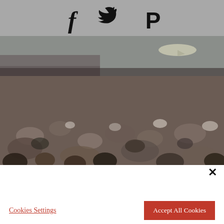[Figure (other): Social media share icons: Facebook (f), Twitter (bird), Pinterest (P) on a gray background]
[Figure (photo): Vintage color photograph of a large crowd of people at an outdoor event, with stadium seating visible in the background and a blimp/airship in the sky]
By clicking “Accept All Cookies”, you agree to the storing of cookies on your device to enhance site navigation, analyze site usage, and assist in our marketing efforts. Privacy Policy
Cookies Settings
Accept All Cookies